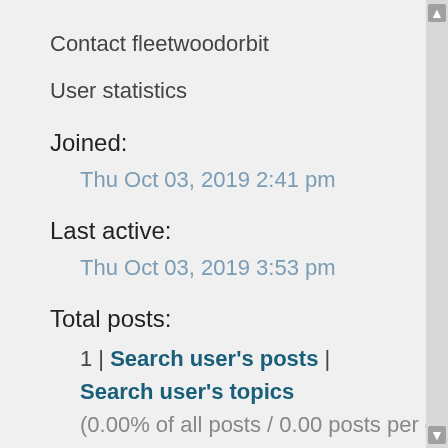Contact fleetwoodorbit
User statistics
Joined:
Thu Oct 03, 2019 2:41 pm
Last active:
Thu Oct 03, 2019 3:53 pm
Total posts:
1 | Search user's posts | Search user's topics
(0.00% of all posts / 0.00 posts per day)
Most active forum: